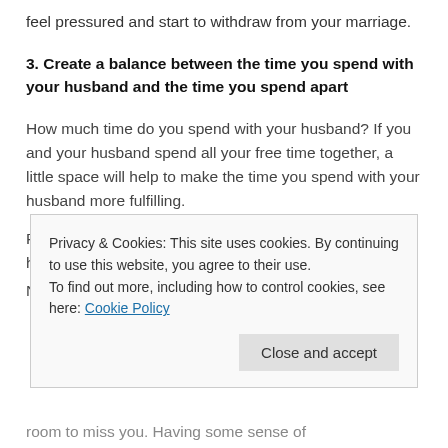feel pressured and start to withdraw from your marriage.
3. Create a balance between the time you spend with your husband and the time you spend apart
How much time do you spend with your husband? If you and your husband spend all your free time together, a little space will help to make the time you spend with your husband more fulfilling.
Pursue passions that are not dependent on your husband
Nurture your own circle of friends
Privacy & Cookies: This site uses cookies. By continuing to use this website, you agree to their use.
To find out more, including how to control cookies, see here: Cookie Policy
room to miss you. Having some sense of